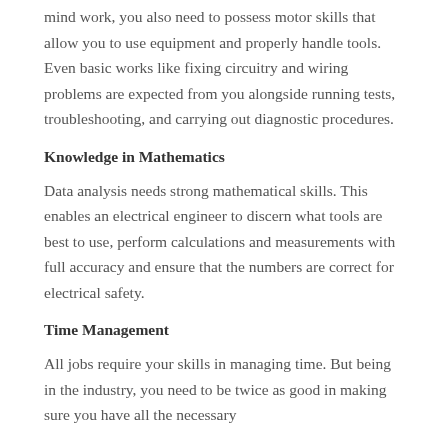mind work, you also need to possess motor skills that allow you to use equipment and properly handle tools. Even basic works like fixing circuitry and wiring problems are expected from you alongside running tests, troubleshooting, and carrying out diagnostic procedures.
Knowledge in Mathematics
Data analysis needs strong mathematical skills. This enables an electrical engineer to discern what tools are best to use, perform calculations and measurements with full accuracy and ensure that the numbers are correct for electrical safety.
Time Management
All jobs require your skills in managing time. But being in the industry, you need to be twice as good in making sure you have all the necessary